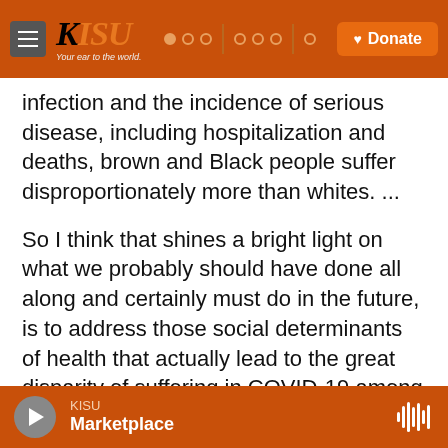KISU — Your ear to the world | Donate
infection and the incidence of serious disease, including hospitalization and deaths, brown and Black people suffer disproportionately more than whites. ...
So I think that shines a bright light on what we probably should have done all along and certainly must do in the future, is to address those social determinants of health that actually lead to the great disparity of suffering in COVID-19 among brown and Black people. We had the same sort of thing with the disparities of infection in certain demographic groups with HIV. So from an
KISU — Marketplace